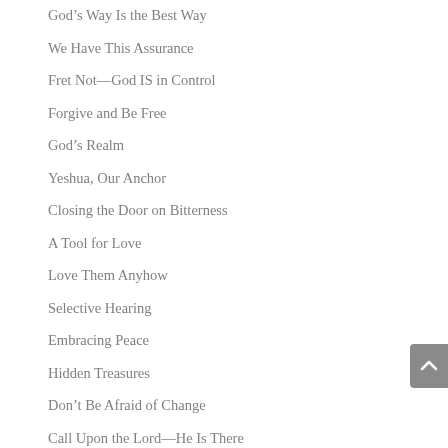God’s Way Is the Best Way
We Have This Assurance
Fret Not—God IS in Control
Forgive and Be Free
God’s Realm
Yeshua, Our Anchor
Closing the Door on Bitterness
A Tool for Love
Love Them Anyhow
Selective Hearing
Embracing Peace
Hidden Treasures
Don’t Be Afraid of Change
Call Upon the Lord—He Is There
God’s Providential Control